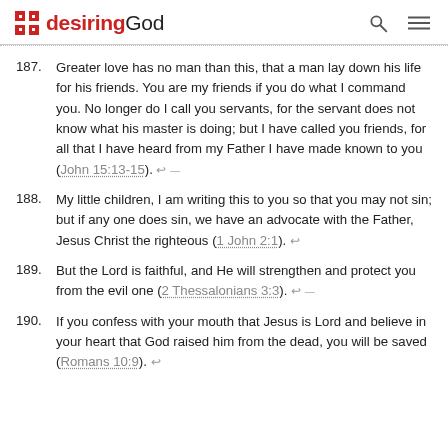desiringGod
187. Greater love has no man than this, that a man lay down his life for his friends. You are my friends if you do what I command you. No longer do I call you servants, for the servant does not know what his master is doing; but I have called you friends, for all that I have heard from my Father I have made known to you (John 15:13-15). ←
188. My little children, I am writing this to you so that you may not sin; but if any one does sin, we have an advocate with the Father, Jesus Christ the righteous (1 John 2:1). ←
189. But the Lord is faithful, and He will strengthen and protect you from the evil one (2 Thessalonians 3:3). ←
190. If you confess with your mouth that Jesus is Lord and believe in your heart that God raised him from the dead, you will be saved (Romans 10:9). ←